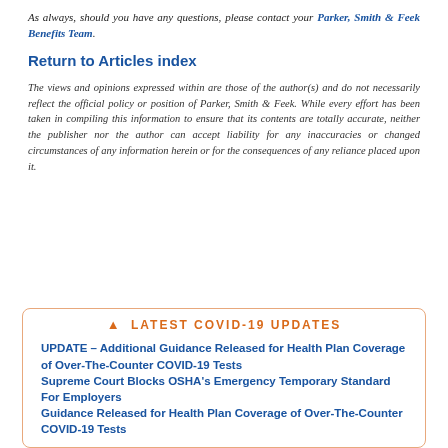As always, should you have any questions, please contact your Parker, Smith & Feek Benefits Team.
Return to Articles index
The views and opinions expressed within are those of the author(s) and do not necessarily reflect the official policy or position of Parker, Smith & Feek. While every effort has been taken in compiling this information to ensure that its contents are totally accurate, neither the publisher nor the author can accept liability for any inaccuracies or changed circumstances of any information herein or for the consequences of any reliance placed upon it.
LATEST COVID-19 UPDATES
UPDATE – Additional Guidance Released for Health Plan Coverage of Over-The-Counter COVID-19 Tests
Supreme Court Blocks OSHA's Emergency Temporary Standard For Employers
Guidance Released for Health Plan Coverage of Over-The-Counter COVID-19 Tests